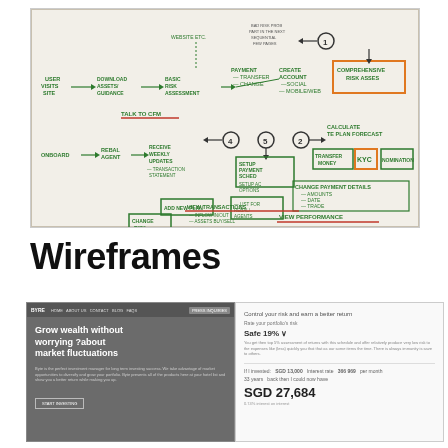[Figure (photo): Photograph of a whiteboard showing a user flow diagram with handwritten nodes and arrows in green and red marker. Nodes include: User visits site, Download assets/guidance, Basic risk assessment, Talk to CFM, Redeem/agent, Receive weekly updates, Transaction statement, Add new plan, Change risk profile, Setup payment sched, Setup AC options, List for rebal/agents, View transactions, View performance, Create account (social, mobile/web), Comprehensive risk asses, Calculate/plan forecast, Transfer money, KYC, Nomination, Change payment details (amounts, date, trade). Numbered circles 1-5 mark key steps.]
Wireframes
[Figure (screenshot): Wireframe screenshot of a dark-themed website landing page. Navigation bar at top with logo 'BYTE' and nav links. Hero section with white headline text reading 'Grow wealth without worrying ?about market fluctuations'. Subtext paragraph below. A call-to-action button at the bottom of the section.]
[Figure (screenshot): Wireframe screenshot of a risk assessment/portfolio calculator page. Light background. Title 'Control your risk and earn a better return'. Subtitle 'Rate your portfolio risk'. Risk level shown as 'Safe 19%' with a dropdown. Descriptive paragraph text. Below a divider: 'If I invested: SGD 13,000 | Interest rate 366 969 per month'. '33 years - back then I could now have'. Large amount displayed: 'SGD 27,684'. Smaller text below.]